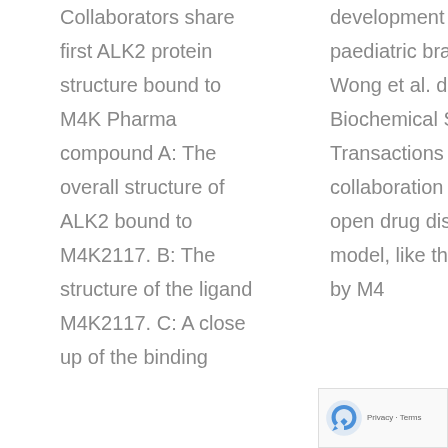Collaborators share first ALK2 protein structure bound to M4K Pharma compound A: The overall structure of ALK2 bound to M4K2117. B: The structure of the ligand M4K2117. C: A close up of the binding
development for paediatric brain tumours Wong et al. describe in Biochemical Society Transactions how open collaboration and an open drug discovery model, like the one used by M4